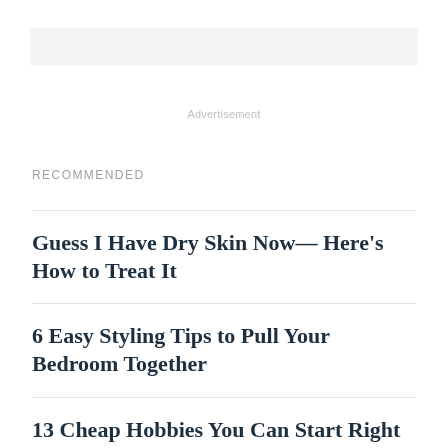[Figure (other): Light gray advertisement banner rectangle]
Advertisement
RECOMMENDED
Guess I Have Dry Skin Now— Here's How to Treat It
6 Easy Styling Tips to Pull Your Bedroom Together
13 Cheap Hobbies You Can Start Right Now